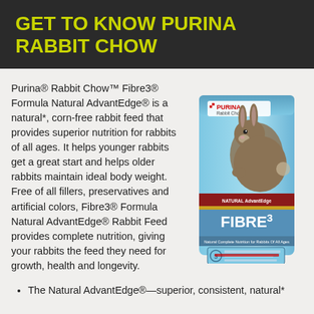GET TO KNOW PURINA RABBIT CHOW
Purina® Rabbit Chow™ Fibre3® Formula Natural AdvantEdge® is a natural*, corn-free rabbit feed that provides superior nutrition for rabbits of all ages. It helps younger rabbits get a great start and helps older rabbits maintain ideal body weight. Free of all fillers, preservatives and artificial colors, Fibre3® Formula Natural AdvantEdge® Rabbit Feed provides complete nutrition, giving your rabbits the feed they need for growth, health and longevity.
[Figure (photo): Purina Rabbit Chow Fibre3 Natural AdvantEdge product bag with a rabbit on it, light blue bag]
The Natural AdvantEdge®—superior, consistent, natural*